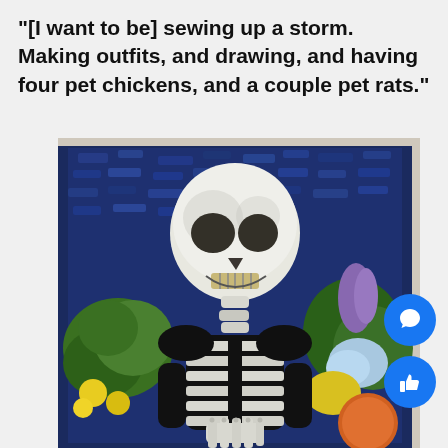"[I want to be] sewing up a storm. Making outfits, and drawing, and having four pet chickens, and a couple pet rats."
[Figure (photo): A photograph of a student-made painting pinned to a white textured wall. The painting depicts a white skeleton with a grinning skull, set against a dark blue background with blue brushstroke patterns. The skeleton sits surrounded by colorful flowers and fruit including yellow flowers, green foliage, blue and purple flowers, and an orange in the lower right. The skeleton's bony hands are folded in front of its ribcage.]